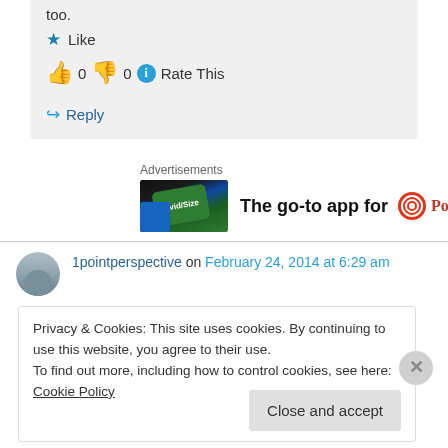too.
★ Like
👍 0 👎 0 ℹ Rate This
↪ Reply
Advertisements
[Figure (other): Pocket Casts advertisement banner with app image and text 'The go-to app for' and Pocket Casts logo]
1pointperspective on February 24, 2014 at 6:29 am
Privacy & Cookies: This site uses cookies. By continuing to use this website, you agree to their use.
To find out more, including how to control cookies, see here: Cookie Policy
Close and accept